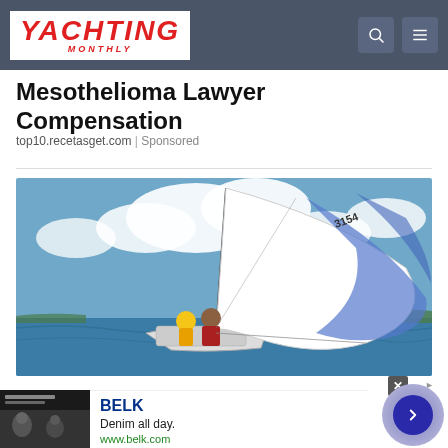YACHTING MONTHLY
Mesothelioma Lawyer Compensation
top10.recetasget.com | Sponsored
[Figure (photo): Two sailors on a sailboat with a large white and blue spinnaker sail deployed, sailing on open water with blue skies and clouds. Sail number 3154 visible.]
[Figure (photo): BELK advertisement banner showing people in denim clothing]
BELK
Denim all day.
www.belk.com